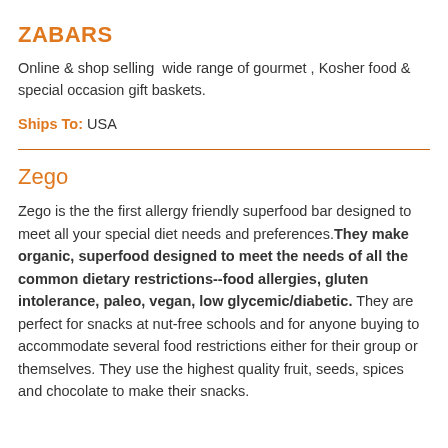ZABARS
Online & shop selling  wide range of gourmet , Kosher food & special occasion gift baskets.
Ships To: USA
Zego
Zego is the the first allergy friendly superfood bar designed to meet all your special diet needs and preferences. They make organic, superfood designed to meet the needs of all the common dietary restrictions--food allergies, gluten intolerance, paleo, vegan, low glycemic/diabetic. They are perfect for snacks at nut-free schools and for anyone buying to accommodate several food restrictions either for their group or themselves. They use the highest quality fruit, seeds, spices and chocolate to make their snacks.